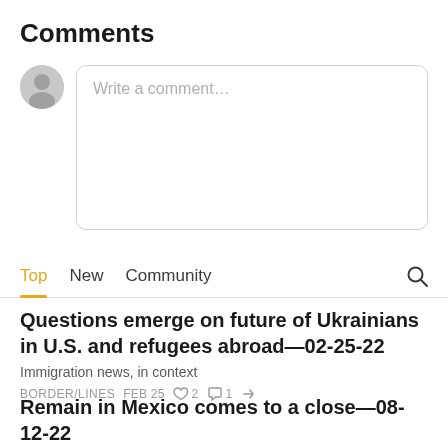Comments
[Figure (other): Comment input area with avatar placeholder and text input box with placeholder text 'Write a comment...']
Top   New   Community
Questions emerge on future of Ukrainians in U.S. and refugees abroad—02-25-22
Immigration news, in context
BORDER/LINES   FEB 25   ♡ 2   ○ 1   ↗
Remain in Mexico comes to a close—08-12-22
Immigration news, in context
BORDER/LINES   AUG 12   ♡   ○   ↗